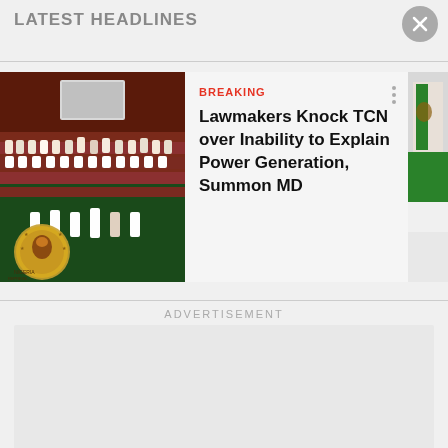LATEST HEADLINES
[Figure (screenshot): News app screenshot showing a parliament chamber with people seated in green and red rows]
BREAKING
Lawmakers Knock TCN over Inability to Explain Power Generation, Summon MD
ADVERTISEMENT